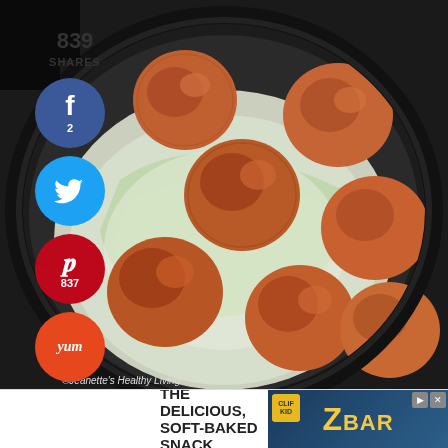[Figure (photo): Overhead photo of browned meatballs in a dark skillet on top of cabbage leaves with steam/liquid visible]
839
SHARES
[Figure (infographic): Facebook share button with count 2]
[Figure (infographic): Twitter share button]
[Figure (infographic): Pinterest share button with count 837]
[Figure (infographic): Yummly (Yum) share button]
©Jeanette's Healthy Living
[Figure (infographic): Advertisement banner: THE DELICIOUS, SOFT-BAKED SNACK with Z BAR (Clif) branding]